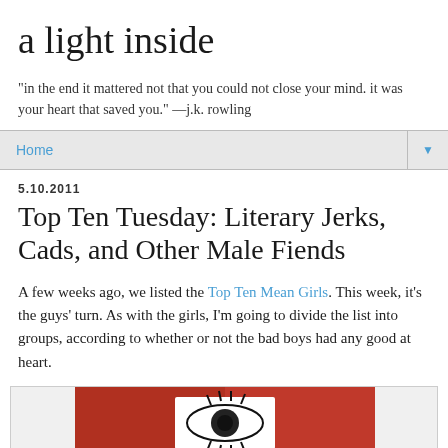a light inside
"in the end it mattered not that you could not close your mind. it was your heart that saved you." —j.k. rowling
Home ▼
5.10.2011
Top Ten Tuesday: Literary Jerks, Cads, and Other Male Fiends
A few weeks ago, we listed the Top Ten Mean Girls. This week, it's the guys' turn. As with the girls, I'm going to divide the list into groups, according to whether or not the bad boys had any good at heart.
[Figure (photo): Partial image of a book cover with red background and illustrated eyes/eyelashes visible at bottom of frame]